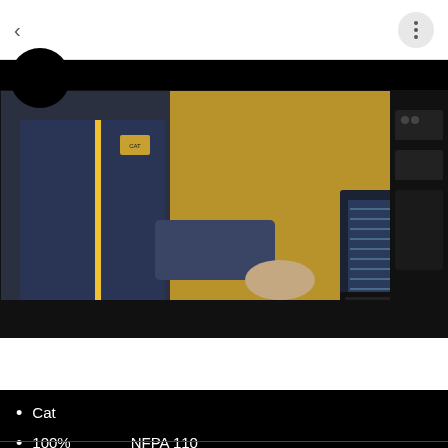< [navigation back] [menu button]
[Figure (photo): A technician in dark blue coveralls using a laptop computer next to a large industrial generator or engine system. The setting is an industrial facility with yellow-painted large machinery visible in the background. The laptop screen shows a spreadsheet or diagnostic table.]
Cat
100%    NFPA 110
ISO 8528-5